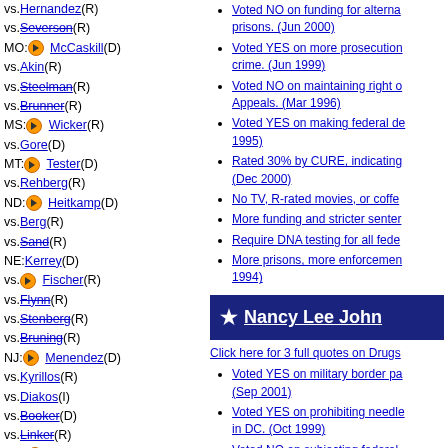vs.Hernandez(R)
vs.Severson(R)
MO: McCaskill(D)
vs.Akin(R)
vs.Steelman(R)
vs.Brunner(R)
MS: Wicker(R)
vs.Gore(D)
MT: Tester(D)
vs.Rehberg(R)
ND: Heitkamp(D)
vs.Berg(R)
vs.Sand(R)
NE:Kerrey(D)
vs. Fischer(R)
vs.Flynn(R)
vs.Stenberg(R)
vs.Bruning(R)
NJ: Menendez(D)
vs.Kyrillos(R)
vs.Diakos(I)
vs.Booker(D)
vs.Linker(R)
NM: Heinrich(D)
vs.Wilson(R)
vs.Balderas(D)
vs.Sanchez(R)
NV: Heller(R)
Voted NO on funding for alternative prisons. (Jun 2000)
Voted YES on more prosecution on hate crime. (Jun 1999)
Voted NO on maintaining right of Appeals. (Mar 1996)
Voted YES on making federal de 1995)
Rated 30% by CURE, indicating (Dec 2000)
No TV, R-rated movies, or coffe
More funding and stricter senter
Require DNA testing for all fede
More prisons, more enforcemen 1994)
Nancy Lee John
Click here for 3 full quotes on Drugs
Voted YES on military border pa (Sep 2001)
Voted YES on prohibiting needle in DC. (Oct 1999)
Voted NO on subjecting federal (Sep 1998)